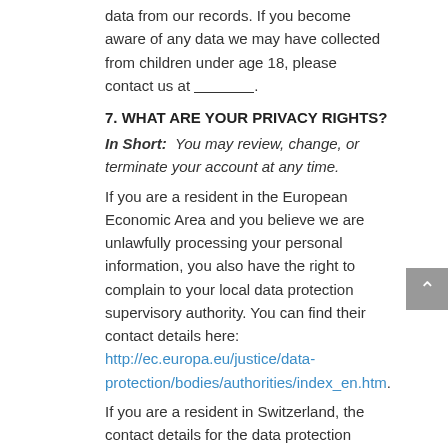data from our records. If you become aware of any data we may have collected from children under age 18, please contact us at ________.
7. WHAT ARE YOUR PRIVACY RIGHTS?
In Short:  You may review, change, or terminate your account at any time.
If you are a resident in the European Economic Area and you believe we are unlawfully processing your personal information, you also have the right to complain to your local data protection supervisory authority. You can find their contact details here: http://ec.europa.eu/justice/data-protection/bodies/authorities/index_en.htm.
If you are a resident in Switzerland, the contact details for the data protection authorities are available here: https://www.edoeb.admin.ch/edoeb/en/home.html.
8. CONTROLS FOR DO-NOT-TRACK FEATURES
Most web browsers and some mobile operating systems and mobile applications include a Do-Not-